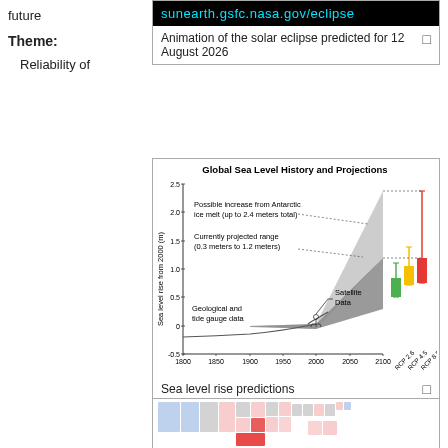future
Theme:
Reliability of
sunearth.gsfc.nasa.gov/eclipse
Animation of the solar eclipse predicted for 12 August 2026
[Figure (continuous-plot): Area chart showing global sea level rise from 2000 (in meters) from 1800 to 2100, with geological and tide gauge data, satellite data, projected range 0.3-1.2 meters, possible Antarctic ice melt up to 2.4 meters, and RCP 2.6, 4.5, 8.5 bar projections for 2100.]
Sea level rise predictions
[Figure (map): US map with states colored in shades of red and blue.]